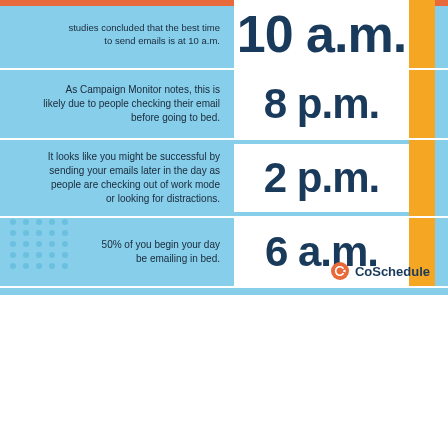[Figure (infographic): Email send time infographic showing 4 optimal times: 10 a.m., 8 p.m., 2 p.m., 6 a.m. with explanatory text for each, on a light blue background with CoSchedule logo]
CoSchedule just launched the world's only forever-free Marketing Calendar
Create Your Calendar